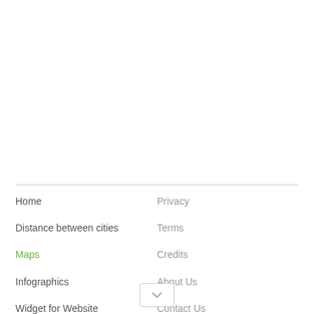Home | Distance between cities | Maps | Infographics | Widget for Website | Privacy | Terms | Credits | About Us | Contact Us